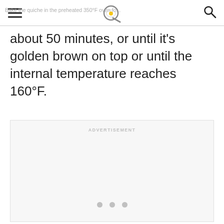Bake the quiche in the preheated 350°F oven for
about 50 minutes, or until it's golden brown on top or until the internal temperature reaches 160°F.
[Figure (other): Advertisement placeholder box with ADVERTISEMENT label and three dots navigation indicator]